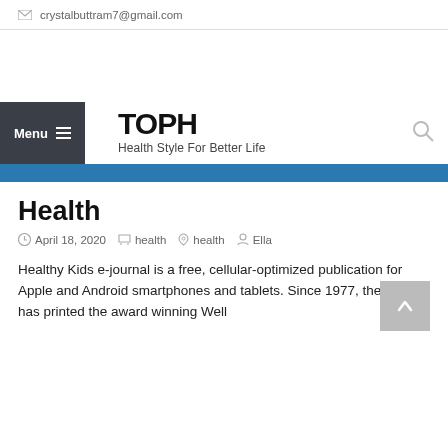✉ crystalbuttram7@gmail.com
[Figure (other): Advertisement/banner area (blank white space)]
Menu ≡ TOPH
Health Style For Better Life
Health
April 18, 2020   health   health   Ella
Healthy Kids e-journal is a free, cellular-optimized publication for Apple and Android smartphones and tablets. Since 1977, the NHA has printed the award winning Well